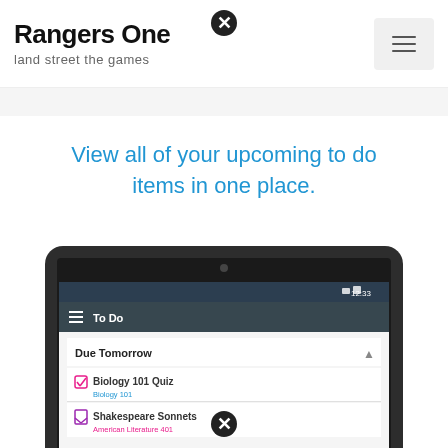Rangers One
land street the games
View all of your upcoming to do items in one place.
[Figure (screenshot): Android tablet screenshot showing a To Do app with 'Due Tomorrow' section listing 'Biology 101 Quiz' and 'Shakespeare Sonnets' items]